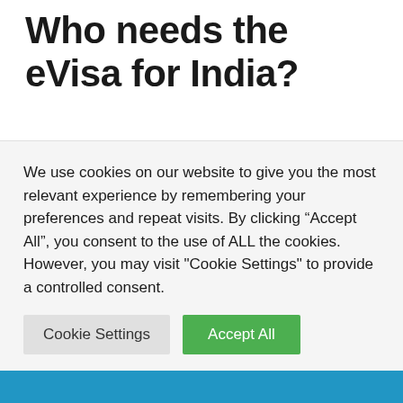Who needs the eVisa for India?
The Indian eVisa online granted to visitors of the country who wish to travel to India for a limited period of time. The eVisa provides visitors with the same visa privileges as a traditional paper visa, enabling them to travel to and reside in India for a period of up to 180 days from the date of first entry without the
We use cookies on our website to give you the most relevant experience by remembering your preferences and repeat visits. By clicking “Accept All”, you consent to the use of ALL the cookies. However, you may visit "Cookie Settings" to provide a controlled consent.